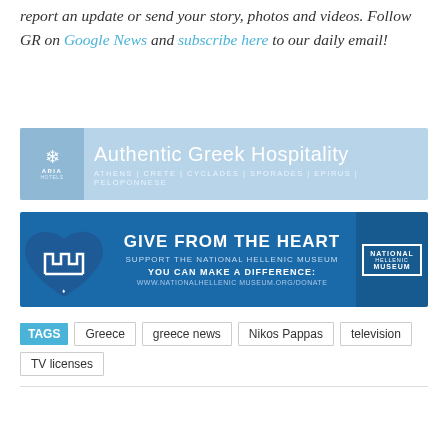report an update or send your story, photos and videos. Follow GR on Google News and subscribe here to our daily email!
[Figure (illustration): Aria Hotels banner ad: light blue background with snowflake logo on left, text 'Authentic Greek Hospitality' with subtitle 'ATHENS | CRETE | CYCLADES | SPORADES | EPIRUS | PELOPONNESE']
[Figure (illustration): National Hellenic Museum banner ad: blue background with Greek meander heart logo, text 'GIVE FROM THE HEART / SUPPORT THE NATIONAL HELLENIC MUSEUM / YOU CAN MAKE A DIFFERENCE: / WWW.NATIONALHELLENIC MUSEUM.ORG/DONATE' and NHM logo on right]
TAGS  Greece  greece news  Nikos Pappas  television  TV licenses